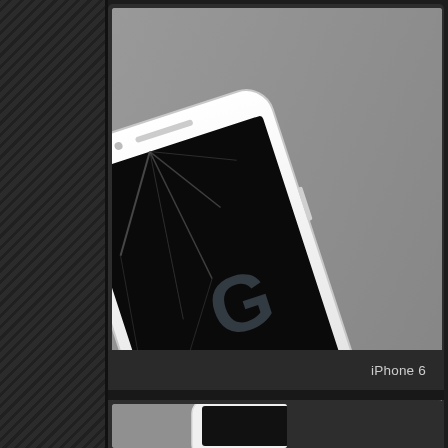[Figure (screenshot): Dark UI screenshot showing two vertically stacked media cards on a dark textured background. Left side shows a diagonal striped dark sidebar. The top card displays a photo of a white iPhone 6 lying face-up at an angle on a gray surface, with a cracked screen showing a dark display with a large 'G' watermark. Below the photo is a label bar reading 'iPhone 6'. A second card is partially visible at the bottom of the image, showing what appears to be another iPhone photo on a gray background.]
iPhone 6